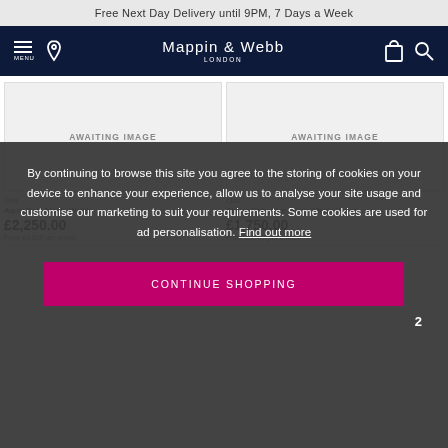Free Next Day Delivery until 9PM, 7 Days a Week
[Figure (logo): Mappin & Webb London logo with navigation icons (hamburger menu, location pin, shopping bag, search)]
[Figure (other): AWAITING IMAGE placeholder box (left product)]
[Figure (other): AWAITING IMAGE placeholder box (right product)]
Oris
Oris
Aquis Date Men's Watch
Divers Sixty-Five 40mm Men's Watch
£2,250.00
£1,750.00
From £4,019 per month
From £32.83 per month
By continuing to browse this site you agree to the storing of cookies on your device to enhance your experience, allow us to analyse your site usage and customise our marketing to suit your requirements. Some cookies are used for ad personalisation. Find out more
CONTINUE SHOPPING